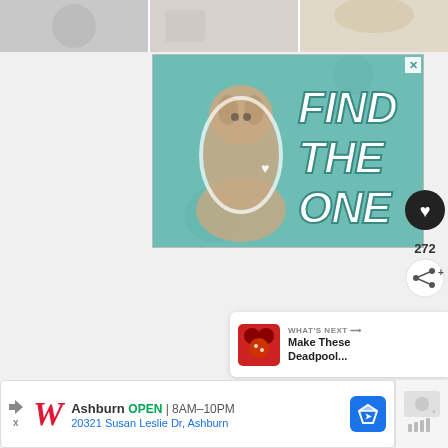[Figure (screenshot): Top partial images strip showing three partial images of people/content]
[Figure (advertisement): Pet adoption advertisement with teal/mint background, large dog (Great Dane), and bold text reading FIND THE ONE with a heart symbol]
[Figure (infographic): Heart like button (black circle with heart icon) showing 272 likes, and share button below it]
272
[Figure (screenshot): WHAT'S NEXT panel with thumbnail showing Make These Deadpool... text]
WHAT'S NEXT ⟶
Make These Deadpool...
[Figure (advertisement): Walgreens bottom ad banner: Ashburn OPEN 8AM-10PM, 20321 Susan Leslie Dr, Ashburn]